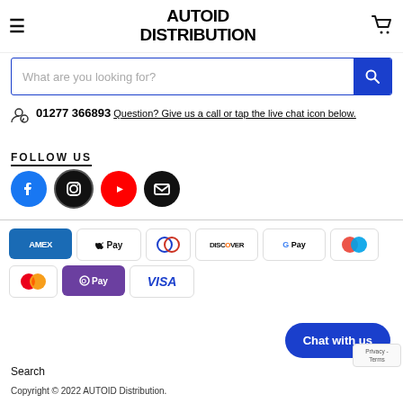AUTOID DISTRIBUTION — navigation header with hamburger menu and cart icon
What are you looking for? [search bar with blue search button]
01277 366893 Question? Give us a call or tap the live chat icon below.
FOLLOW US
[Figure (infographic): Social media icons: Facebook (blue circle), Instagram (black circle), YouTube (red circle), Email (black circle)]
[Figure (infographic): Payment method icons: AMEX, Apple Pay, Diners Club, Discover, Google Pay, Pay (circles), Mastercard, OPay, VISA]
Chat with us
Privacy - Terms
Search
Copyright © 2022 AUTOID Distribution.